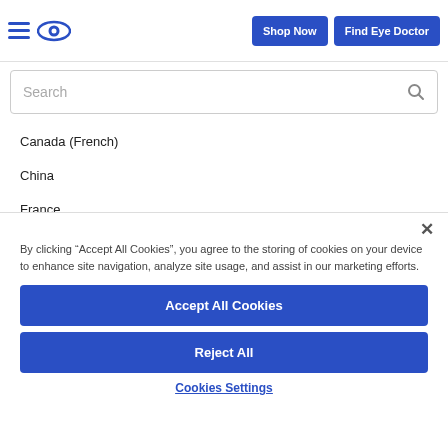[Figure (screenshot): Navigation bar with hamburger menu icon, eye logo icon, Shop Now button, and Find Eye Doctor button in blue]
[Figure (screenshot): Search input bar with placeholder text Search and magnifying glass icon]
Canada (French)
China
France
By clicking “Accept All Cookies”, you agree to the storing of cookies on your device to enhance site navigation, analyze site usage, and assist in our marketing efforts.
Accept All Cookies
Reject All
Cookies Settings